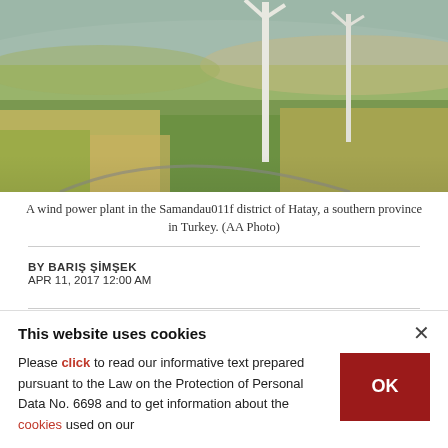[Figure (photo): A wind power plant in a rural landscape with green and golden fields, with wind turbines visible in the background. Samandau district of Hatay, southern Turkey.]
A wind power plant in the Samandau011f district of Hatay, a southern province in Turkey. (AA Photo)
BY BARIŞ ŞİMŞEK
APR 11, 2017 12:00 AM
After taking concrete steps in solar power with Karapınar renewable energy area, Turkey
This website uses cookies
Please click to read our informative text prepared pursuant to the Law on the Protection of Personal Data No. 6698 and to get information about the cookies used on our